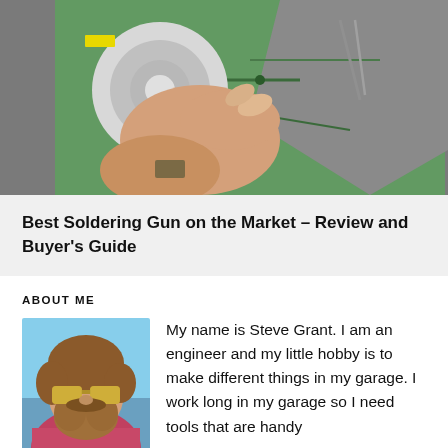[Figure (photo): A hand holding a roll of solder wire over a green circuit board, with tweezers visible in the background. Electronics/soldering work in progress.]
Best Soldering Gun on the Market – Review and Buyer's Guide
ABOUT ME
[Figure (photo): Portrait photo of a bearded man wearing reflective sunglasses, outdoors. Identified as Steve Grant.]
My name is Steve Grant. I am an engineer and my little hobby is to make different things in my garage. I work long in my garage so I need tools that are handy and light. I will share all the different things I